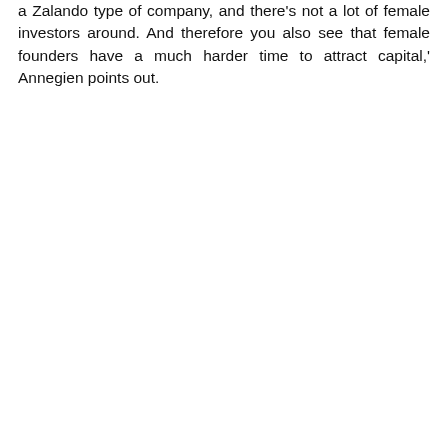a ​Zalando type of company, and there's not a lot of female investors around. And therefore you also see that female founders have a much harder time to attract capital,' Annegien points out.